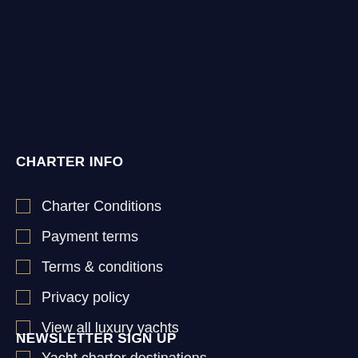CHARTER INFO
Charter Conditions
Payment terms
Terms & conditions
Privacy policy
View all luxury yachts
Yacht charter destinations
FAQ
Contact us
About us
NEWSLETTER SIGN UP